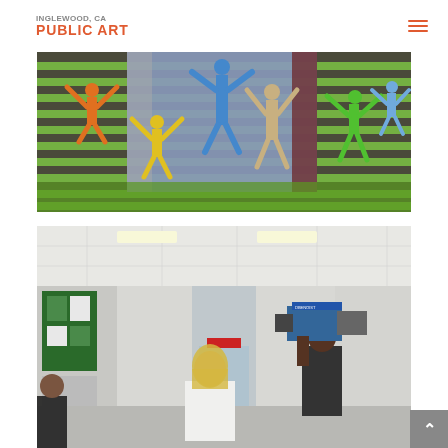INGLEWOOD, CA PUBLIC ART
[Figure (photo): Colorful mural artwork showing stylized human figures with raised arms against a woven background of green and gray strips. Figures in orange, yellow, blue, tan, and green colors.]
[Figure (photo): Indoor hallway scene with a woman with blonde hair in a white blazer being filmed by a camera operator with a large professional video camera. The hallway has a drop ceiling with fluorescent lighting and leads to glass doors at the far end.]